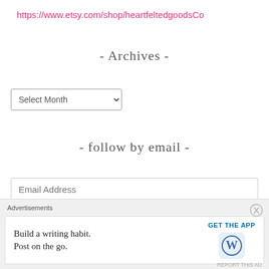https://www.etsy.com/shop/heartfeltedgoodsCo
- Archives -
[Figure (screenshot): Select Month dropdown widget]
- follow by email -
[Figure (screenshot): Email Address input field]
[Figure (screenshot): I HEART CRAFTS button in teal]
Instagram
Advertisements
Build a writing habit. Post on the go.
GET THE APP